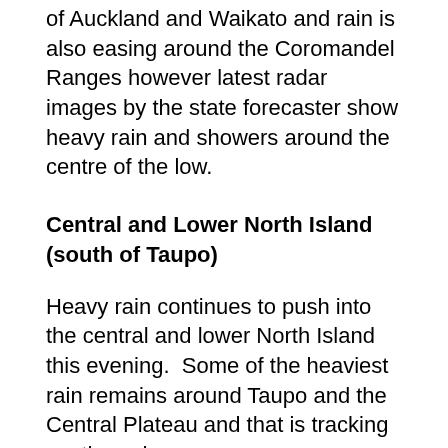of Auckland and Waikato and rain is also easing around the Coromandel Ranges however latest radar images by the state forecaster show heavy rain and showers around the centre of the low.
Central and Lower North Island (south of Taupo)
Heavy rain continues to push into the central and lower North Island this evening.  Some of the heaviest rain remains around Taupo and the Central Plateau and that is tracking southwards.
In New Plymouth a near gale southerly is gusting to 83km/h with strong south easterlies in Hawera, south Taranaki.
It's significantly cooler in Taranaki with 14 to 16 degrees this hour, compared to 24 degrees in a number of upper North Island regions this hour.